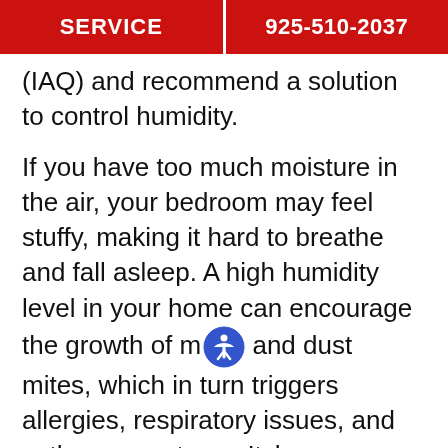SERVICE  925-510-2037
(IAQ) and recommend a solution to control humidity.
If you have too much moisture in the air, your bedroom may feel stuffy, making it hard to breathe and fall asleep. A high humidity level in your home can encourage the growth of m[old] and dust mites, which in turn triggers allergies, respiratory issues, and asthma symptoms. Itchy eyes, sinus problems, and allergies can interfere with quality sleep.
Humidity is at an ideal level between 35 to 50 percent. If it consistently drops below the